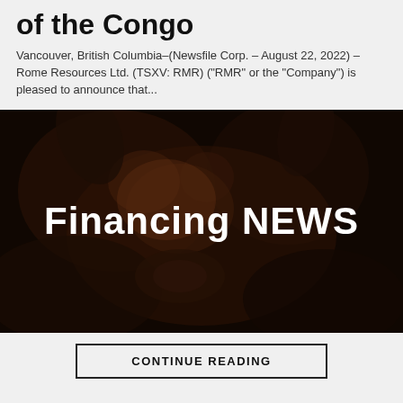of the Congo
Vancouver, British Columbia–(Newsfile Corp. – August 22, 2022) – Rome Resources Ltd. (TSXV: RMR) ("RMR" or the "Company") is pleased to announce that...
[Figure (photo): Dark close-up photo of a bronze bull sculpture with the text 'Financing NEWS' overlaid in large white bold letters]
CONTINUE READING